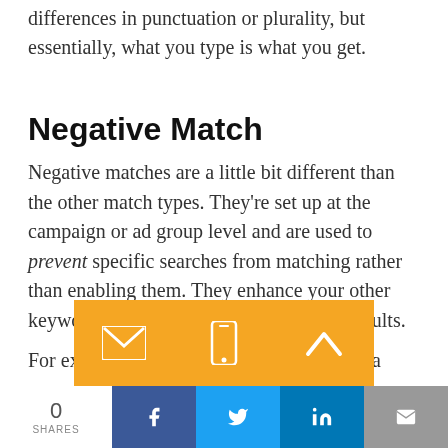differences in punctuation or plurality, but essentially, what you type is what you get.
Negative Match
Negative matches are a little bit different than the other match types. They're set up at the campaign or ad group level and are used to prevent specific searches from matching rather than enabling them. They enhance your other keyword expressions to further exclude results.
For example, you may be a doctor, but not a surgeon. In that case, you'd add [surgeon] as
0 SHARES  [Facebook] [Twitter] [LinkedIn] [Email]